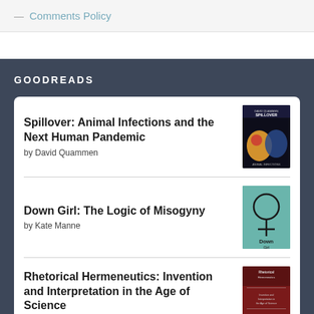— Comments Policy
GOODREADS
Spillover: Animal Infections and the Next Human Pandemic
by David Quammen
Down Girl: The Logic of Misogyny
by Kate Manne
Rhetorical Hermeneutics: Invention and Interpretation in the Age of Science
by Alan G. Gross